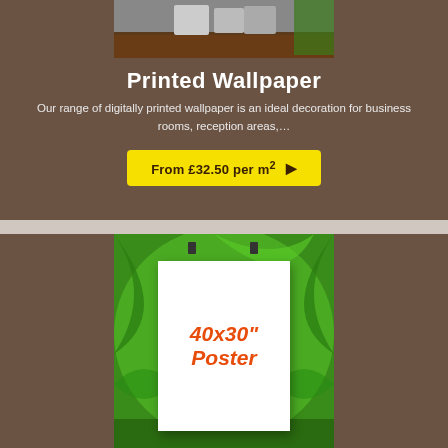[Figure (photo): Photo of office chairs on a wooden floor with green plant in background, shown at top of brown section]
Printed Wallpaper
Our range of digitally printed wallpaper is an ideal decoration for business rooms, reception areas,…
From £32.50 per m² ▶
[Figure (photo): Poster display showing '40x30" Poster' text in orange on white paper, hung with binder clips against a green tropical foliage background]